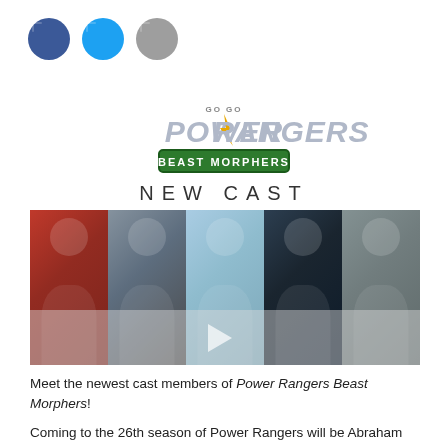[Figure (logo): Three social media icons: Facebook (dark blue circle), Twitter (cyan circle), Google+ or share (gray circle)]
[Figure (logo): Power Rangers Beast Morphers logo with 'Go Go Power Rangers' text above stylized Power Rangers lettering with lightning bolt and Beast Morphers green badge below]
NEW CAST
[Figure (photo): Five headshot photos of new cast members side by side: Abraham Rodriguez, Colby Strong, Kristina Ho, Liana Ramirez, and Cosme Flores, with a semi-transparent overlay at the bottom]
Meet the newest cast members of Power Rangers Beast Morphers!
Coming to the 26th season of Power Rangers will be Abraham Rodriguez, Colby Strong, Kristina Ho, Liana Ramirez, and Cosme Flores.